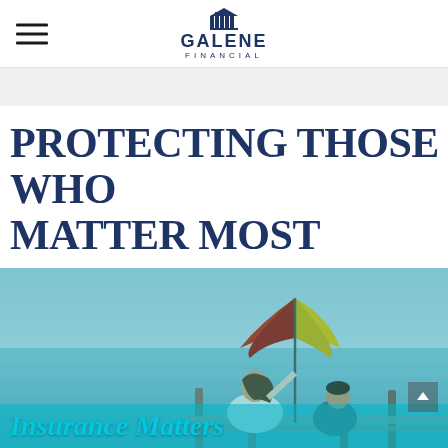Galene Financial
PROTECTING THOSE WHO MATTER MOST
[Figure (photo): A woman and child sitting on a dock at the water's edge, sheltered under a colorful red and yellow umbrella, with calm water in the background. Teal/blue color tint overlay.]
Insurance Matters